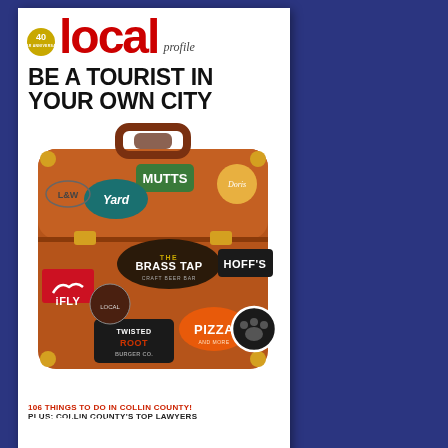[Figure (illustration): Local Profile magazine cover showing 'BE A TOURIST IN YOUR OWN CITY' headline with a vintage brown suitcase covered in stickers for local businesses (MUTTS, Yard, L&W, iFLY, Twisted Root Burger Co., Brass Tap, Hoff's, Pizza). Subtext reads '106 THINGS TO DO IN COLLIN COUNTY! PLUS: COLLIN COUNTY'S TOP LAWYERS'. Magazine has 40 Year Anniversary logo.]
SECTIONS